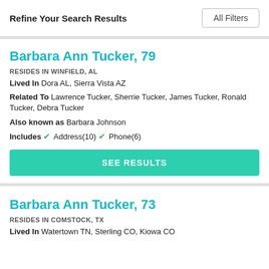Refine Your Search Results
All Filters
Barbara Ann Tucker, 79
RESIDES IN WINFIELD, AL
Lived In Dora AL, Sierra Vista AZ
Related To Lawrence Tucker, Sherrie Tucker, James Tucker, Ronald Tucker, Debra Tucker
Also known as Barbara Johnson
Includes ✓ Address(10) ✓ Phone(6)
SEE RESULTS
Barbara Ann Tucker, 73
RESIDES IN COMSTOCK, TX
Lived In Watertown TN, Sterling CO, Kiowa CO